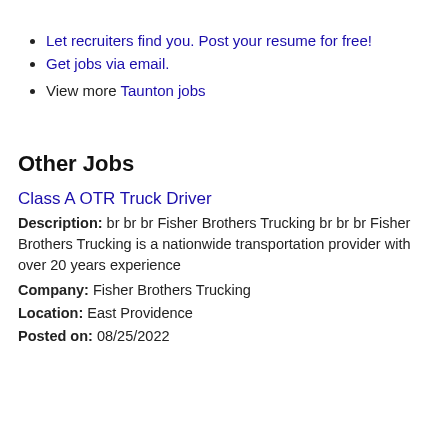Let recruiters find you. Post your resume for free!
Get jobs via email.
View more Taunton jobs
Other Jobs
Class A OTR Truck Driver
Description: br br br Fisher Brothers Trucking br br br Fisher Brothers Trucking is a nationwide transportation provider with over 20 years experience
Company: Fisher Brothers Trucking
Location: East Providence
Posted on: 08/25/2022